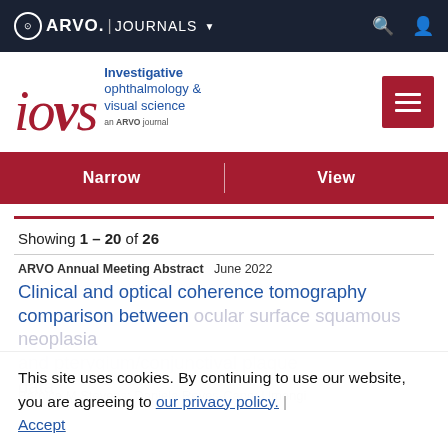ARVO JOURNALS
[Figure (logo): IOVS - Investigative Ophthalmology & Visual Science journal logo, an ARVO journal]
Narrow | View
Showing 1 – 20 of 26
ARVO Annual Meeting Abstract   June 2022
Clinical and optical coherence tomography comparison between ocular surface squamous neoplasia and pterygium/conjunctival plaque data
This site uses cookies. By continuing to use our website, you are agreeing to our privacy policy. Accept